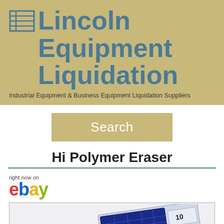[Figure (logo): Lincoln Equipment Liquidation logo with grid icon, brand name in blue-gray on tan/khaki background, tagline below]
[Figure (other): Search button, tan/khaki colored rectangle with white text 'Search']
Hi Polymer Eraser
[Figure (logo): eBay logo with 'right now on' text above it in multicolor letters]
[Figure (photo): Partial view of a Hi Polymer Eraser product package showing '10' and grid pattern on the box]